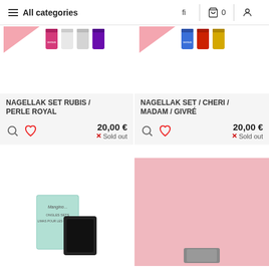All categories  0
[Figure (photo): Product image for NAGELLAK SET RUBIS / PERLE ROYAL showing nail polish bottles with pink and purple colors]
NAGELLAK SET RUBIS / PERLE ROYAL
20,00 € × Sold out
[Figure (photo): Product image for NAGELLAK SET / CHERI / MADAM / GIVRé showing nail polish bottles with blue, red and gold colors]
NAGELLAK SET / CHERI / MADAM / GIVRé
20,00 € × Sold out
[Figure (photo): Bottom left product card showing nail care product with teal/mint colored packaging]
[Figure (photo): Bottom right product card showing pink background product]